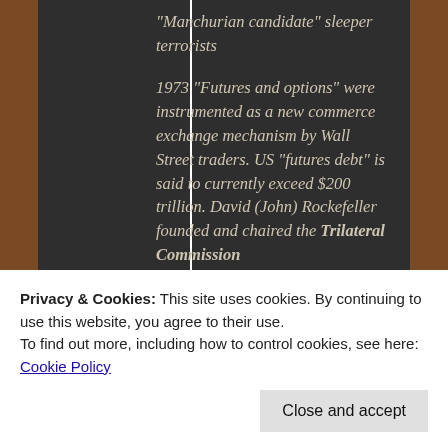"Manchurian candidate" sleeper terrorists
1973 "Futures and options" were instrumented as a new commerce exchange mechanism by Wall Street traders. US "futures debt" is said to currently exceed $200 trillion. David (John) Rockefeller founded and chaired the Trilateral Commission
1974 Creation of the theoretical Petrodollar
1975 Saw the end of Vietnam War. Pol Pot's (circumstantial) purge of Cambodian
Privacy & Cookies: This site uses cookies. By continuing to use this website, you agree to their use.
To find out more, including how to control cookies, see here:
Cookie Policy
Close and accept